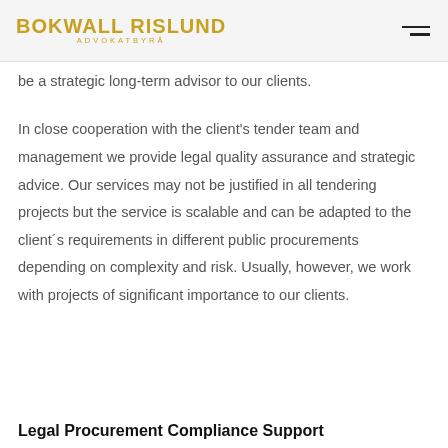BOKWALL RISLUND ADVOKATBYRÅ
be a strategic long-term advisor to our clients.
In close cooperation with the client's tender team and management we provide legal quality assurance and strategic advice. Our services may not be justified in all tendering projects but the service is scalable and can be adapted to the client´s requirements in different public procurements depending on complexity and risk. Usually, however, we work with projects of significant importance to our clients.
Legal Procurement Compliance Support